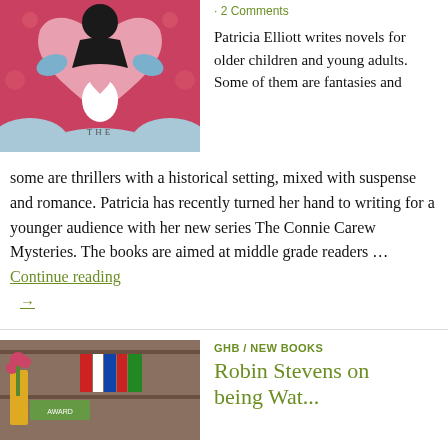[Figure (illustration): Book cover for 'The Connie Carew Mysteries' showing stylized figures and a heart motif on a pink/red background]
· 2 Comments
Patricia Elliott writes novels for older children and young adults. Some of them are fantasies and some are thrillers with a historical setting, mixed with suspense and romance. Patricia has recently turned her hand to writing for a younger audience with her new series The Connie Carew Mysteries. The books are aimed at middle grade readers … Continue reading →
[Figure (photo): Photo of a bookstore display with children's books including signs and colorful book spines]
GHB / NEW BOOKS
Robin Stevens on being Wat...